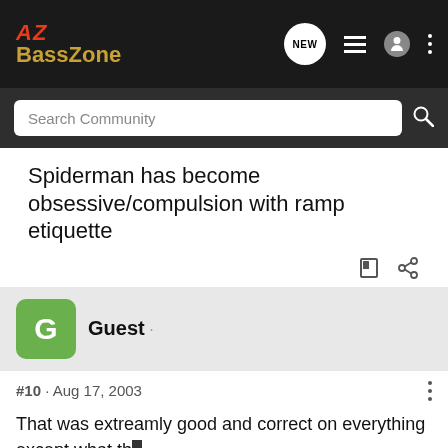AZ BassZone
Spiderman has become obsessive/compulsion with ramp etiquette
Guest ·
#10 · Aug 17, 2003
That was extreamly good and correct on everything except what the
But tha... thong
[Figure (screenshot): Advertisement banner: YOUR NEW FAVORITE SPORT - EXPLORE HOW TO RESPONSIBLY PARTICIPATE IN THE SHOOTING SPORTS. START HERE!]